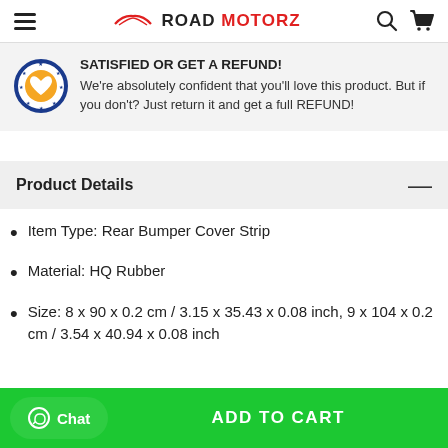ROAD MOTORZ
SATISFIED OR GET A REFUND! We're absolutely confident that you'll love this product. But if you don't? Just return it and get a full REFUND!
Product Details
Item Type: Rear Bumper Cover Strip
Material: HQ Rubber
Size: 8 x 90 x 0.2 cm / 3.15 x 35.43 x 0.08 inch, 9 x 104 x 0.2 cm / 3.54 x 40.94 x 0.08 inch
Chat  ADD TO CART